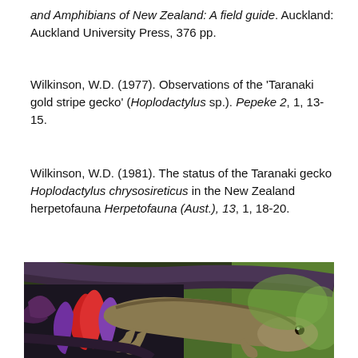and Amphibians of New Zealand: A field guide. Auckland: Auckland University Press, 376 pp.
Wilkinson, W.D. (1977). Observations of the 'Taranaki gold stripe gecko' (Hoplodactylus sp.). Pepeke 2, 1, 13-15.
Wilkinson, W.D. (1981). The status of the Taranaki gecko Hoplodactylus chrysosireticus in the New Zealand herpetofauna Herpetofauna (Aust.), 13, 1, 18-20.
[Figure (photo): Close-up photograph of a small gecko (likely Hoplodactylus species) clinging to red and purple flax flowers or seed pods, with a dark branch in the background and green blurred foliage.]